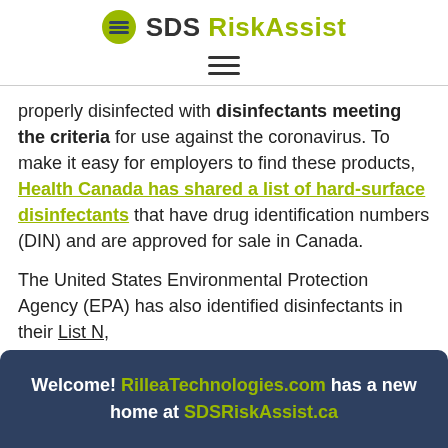SDS RiskAssist
properly disinfected with disinfectants meeting the criteria for use against the coronavirus. To make it easy for employers to find these products, Health Canada has shared a list of hard-surface disinfectants that have drug identification numbers (DIN) and are approved for sale in Canada.
The United States Environmental Protection Agency (EPA) has also identified disinfectants in their List N, that are thought to be effective against the
Welcome! RilleaTechnologies.com has a new home at SDSRiskAssist.ca